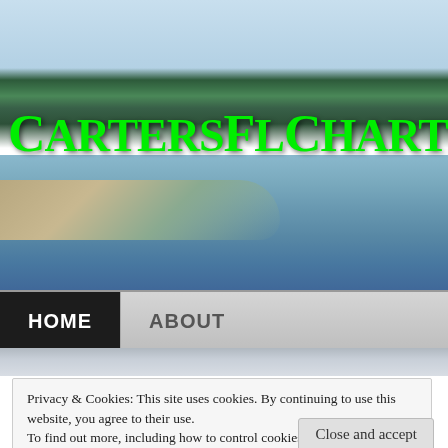[Figure (photo): Website header banner showing a coastal Florida scene with water, mangrove trees along the shoreline, calm water in the foreground, and partly cloudy sky]
CartersFlcharters
florida east coa...
HOME   ABOUT
Privacy & Cookies: This site uses cookies. By continuing to use this website, you agree to their use.
To find out more, including how to control cookies, see here:
Cookie Policy
Close and accept